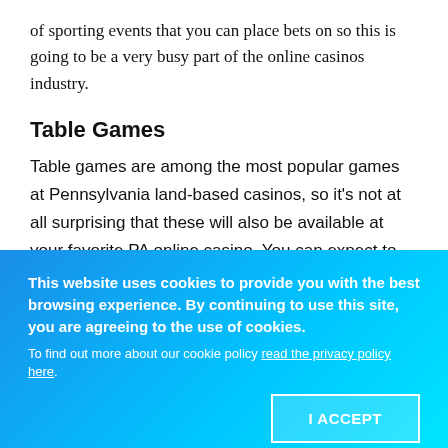of sporting events that you can place bets on so this is going to be a very busy part of the online casinos industry.
Table Games
Table games are among the most popular games at Pennsylvania land-based casinos, so it's not at all surprising that these will also be available at your favorite PA online casino. You can expect to find games such as blackjack, roulette and video poker games. The top online casinos have many variants of the table games in order to provide variety
This website uses cookies to provide you with the best browsing experience. By continuing to use this site, you are agreeing to the use of cookies.
To find out more about our cookie policy read the privacy policy here.
I ACCEPT